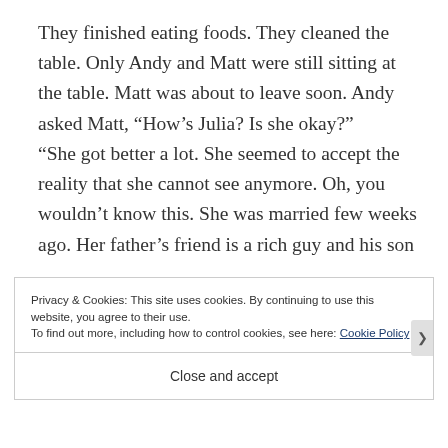They finished eating foods. They cleaned the table. Only Andy and Matt were still sitting at the table. Matt was about to leave soon. Andy asked Matt, “How’s Julia? Is she okay?” “She got better a lot. She seemed to accept the reality that she cannot see anymore. Oh, you wouldn’t know this. She was married few weeks ago. Her father’s friend is a rich guy and his son
Privacy & Cookies: This site uses cookies. By continuing to use this website, you agree to their use.
To find out more, including how to control cookies, see here: Cookie Policy
Close and accept